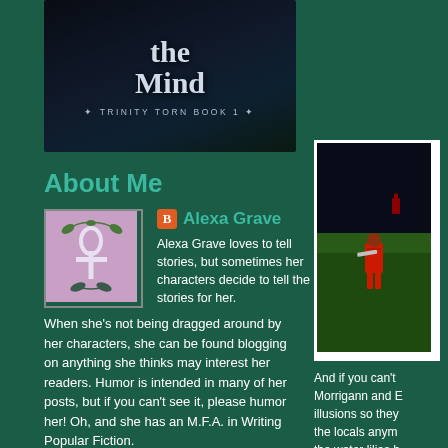[Figure (illustration): Book banner showing 'the Mind - Trinity Torn Book 1' title on dark background]
About Me
[Figure (photo): Author avatar showing ankh cross symbol on purple/lavender background with decorative leaves]
Alexa Grave
Alexa Grave loves to tell stories, but sometimes her characters decide to tell the stories for her. When she's not being dragged around by her characters, she can be found blogging on anything she thinks may interest her readers. Humor is intended in many of her posts, but if you can't see it, please humor her! Oh, and she has an M.F.A. in Writing Popular Fiction.
View my complete profile
[Figure (screenshot): Video game screenshot showing warrior character in red armor on green landscape at night]
And if you can't Morrigann and E illusions so they the locals anym the water lilies h down. The